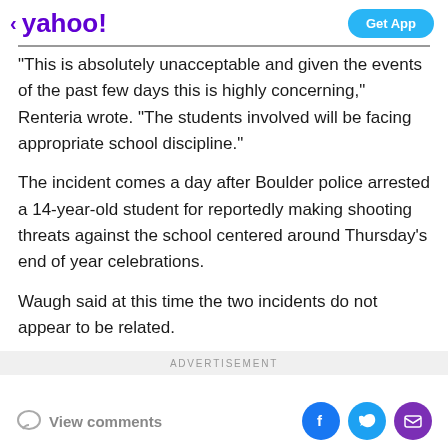< yahoo!  Get App
"This is absolutely unacceptable and given the events of the past few days this is highly concerning," Renteria wrote. "The students involved will be facing appropriate school discipline."
The incident comes a day after Boulder police arrested a 14-year-old student for reportedly making shooting threats against the school centered around Thursday's end of year celebrations.
Waugh said at this time the two incidents do not appear to be related.
ADVERTISEMENT
View comments